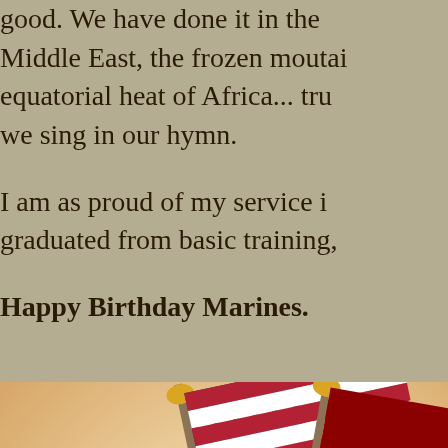good.  We have done it in the Middle East, the frozen mountains, equatorial heat of Africa... truly we sing in our hymn.
I am as proud of my service in graduated from basic training,
Happy Birthday Marines.
[Figure (illustration): Illustration of the United States flag and USMC flag crossed, with the Eagle Globe and Anchor emblem in the center, and a banner reading 'COUNTRY SEMPER FIDELIS' at the bottom.]